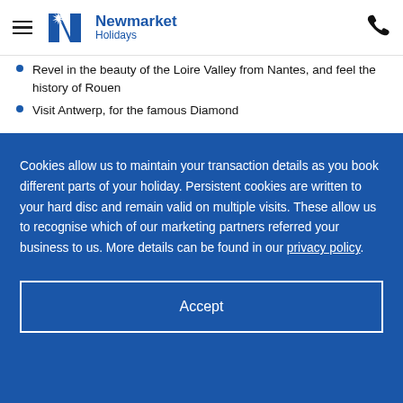Newmarket Holidays
Revel in the beauty of the Loire Valley from Nantes, and feel the history of Rouen
Visit Antwerp, for the famous Diamond
Cookies allow us to maintain your transaction details as you book different parts of your holiday. Persistent cookies are written to your hard disc and remain valid on multiple visits. These allow us to recognise which of our marketing partners referred your business to us. More details can be found in our privacy policy.
Accept